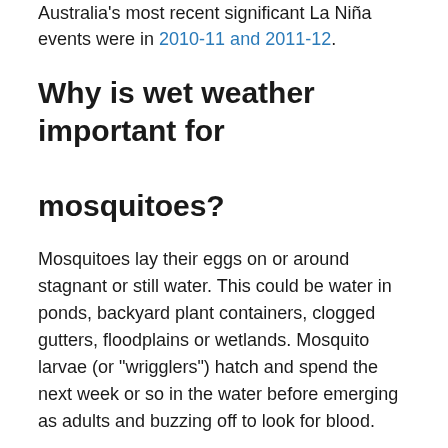Australia's most recent significant La Nina events were in 2010-11 and 2011-12.
Why is wet weather important for mosquitoes?
Mosquitoes lay their eggs on or around stagnant or still water. This could be water in ponds, backyard plant containers, clogged gutters, floodplains or wetlands. Mosquito larvae (or “wrigglers”) hatch and spend the next week or so in the water before emerging as adults and buzzing off to look for blood.
If the water dries up, they die. But the more rain we get, the more opportunities for mosquitoes to multiply.